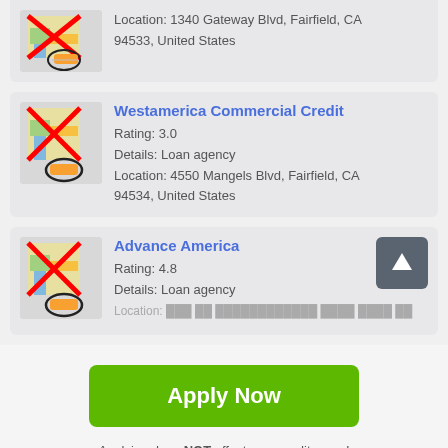Location: 1340 Gateway Blvd, Fairfield, CA 94533, United States
Westamerica Commercial Credit
Rating: 3.0
Details: Loan agency
Location: 4550 Mangels Blvd, Fairfield, CA 94534, United States
Advance America
Rating: 4.8
Details: Loan agency
Apply Now
Applying does NOT affect your credit score! No credit check to apply.